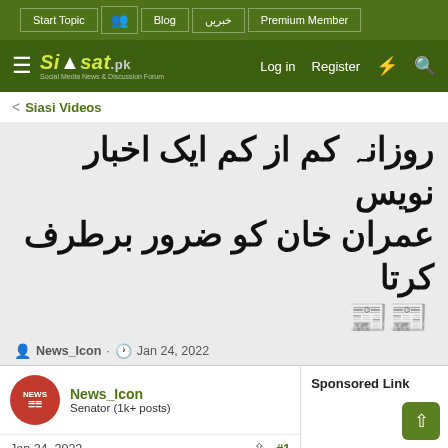Start Topic | Blog | خبریں | Premium Member
Siasat.pk — Social Media News & Discussion Forum | Log in | Register
< Siasi Videos
روزانہ کم از کم ایک اخبار نویس عمران خان کو ضرور برطرف کرتا ہے
News_Icon · Jan 24, 2022
News_Icon
Senator (1k+ posts)
Jan 24, 2022  #1
[Figure (screenshot): Video thumbnail showing '92 Muqabil With Hero' show still image]